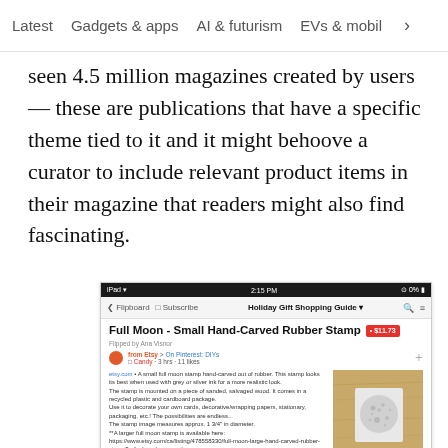Latest   Gadgets & apps   AI & futurism   EVs & mobil  >
seen 4.5 million magazines created by users — these are publications that have a specific theme tied to it and it might behoove a curator to include relevant product items in their magazine that readers might also find fascinating.
[Figure (screenshot): Mobile app screenshot showing a Flipboard article page titled 'Full Moon - Small Hand-Carved Rubber Stamp' with price badge $11.73, article text describing the product, and a photo of the rubber stamp on wood background.]